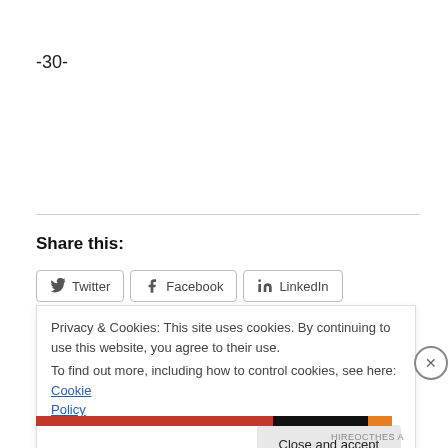-30-
Share this:
Twitter  Facebook  LinkedIn
Privacy & Cookies: This site uses cookies. By continuing to use this website, you agree to their use.
To find out more, including how to control cookies, see here: Cookie Policy
Close and accept